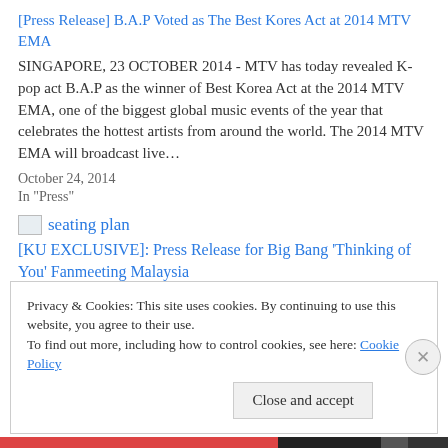[Press Release] B.A.P Voted as The Best Kores Act at 2014 MTV EMA
SINGAPORE, 23 OCTOBER 2014 - MTV has today revealed K-pop act B.A.P as the winner of Best Korea Act at the 2014 MTV EMA, one of the biggest global music events of the year that celebrates the hottest artists from around the world. The 2014 MTV EMA will broadcast live…
October 24, 2014
In "Press"
[Figure (other): Broken image thumbnail labeled 'seating plan']
[KU EXCLUSIVE]: Press Release for Big Bang ‘Thinking of You’ Fanmeeting Malaysia
February 19, 2014
In "Press"
Privacy & Cookies: This site uses cookies. By continuing to use this website, you agree to their use.
To find out more, including how to control cookies, see here: Cookie Policy